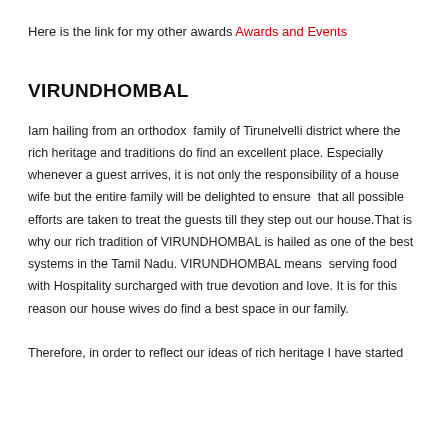Here is the link for my other awards Awards and Events
VIRUNDHOMBAL
Iam hailing from an orthodox  family of Tirunelvelli district where the rich heritage and traditions do find an excellent place. Especially whenever a guest arrives, it is not only the responsibility of a house wife but the entire family will be delighted to ensure  that all possible efforts are taken to treat the guests till they step out our house.That is why our rich tradition of VIRUNDHOMBAL is hailed as one of the best systems in the Tamil Nadu. VIRUNDHOMBAL means  serving food with Hospitality surcharged with true devotion and love. It is for this reason our house wives do find a best space in our family.
Therefore, in order to reflect our ideas of rich heritage I have started